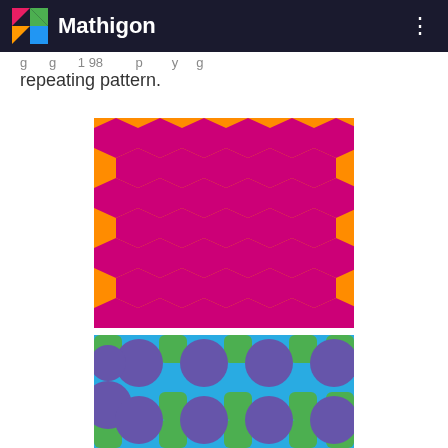Mathigon
repeating pattern.
[Figure (illustration): Tessellation pattern of magenta/purple hexagons on orange background forming a repeating honeycomb-like tiling pattern]
[Figure (illustration): Tessellation pattern of purple/periwinkle octagons and green squares on blue background forming a repeating tiling pattern]